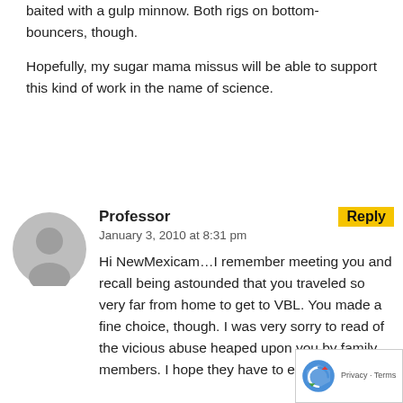baited with a gulp minnow. Both rigs on bottom-bouncers, though.
Hopefully, my sugar mama missus will be able to support this kind of work in the name of science.
Professor
January 3, 2010 at 8:31 pm
Hi NewMexicam…I remember meeting you and recall being astounded that you traveled so very far from home to get to VBL. You made a fine choice, though. I was very sorry to read of the vicious abuse heaped upon you by family members. I hope they have to eat a big